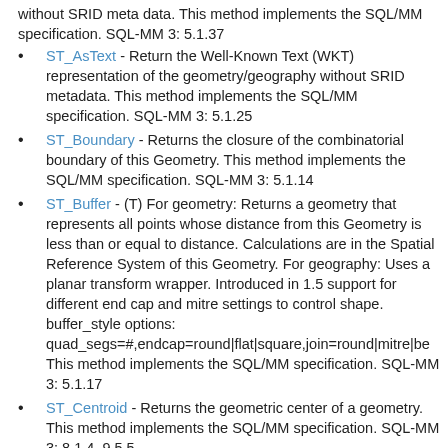without SRID meta data. This method implements the SQL/MM specification. SQL-MM 3: 5.1.37
ST_AsText - Return the Well-Known Text (WKT) representation of the geometry/geography without SRID metadata. This method implements the SQL/MM specification. SQL-MM 3: 5.1.25
ST_Boundary - Returns the closure of the combinatorial boundary of this Geometry. This method implements the SQL/MM specification. SQL-MM 3: 5.1.14
ST_Buffer - (T) For geometry: Returns a geometry that represents all points whose distance from this Geometry is less than or equal to distance. Calculations are in the Spatial Reference System of this Geometry. For geography: Uses a planar transform wrapper. Introduced in 1.5 support for different end cap and mitre settings to control shape. buffer_style options: quad_segs=#,endcap=round|flat|square,join=round|mitre|be This method implements the SQL/MM specification. SQL-MM 3: 5.1.17
ST_Centroid - Returns the geometric center of a geometry. This method implements the SQL/MM specification. SQL-MM 3: 8.1.4, 9.5.5
ST_Contains - Returns true if and only if no points of B lie in the exterior of A, and at least one point of the interior of B lies in the interior of A. This method implements the SQL/MM specification. SQL-MM 3: 5.1.31